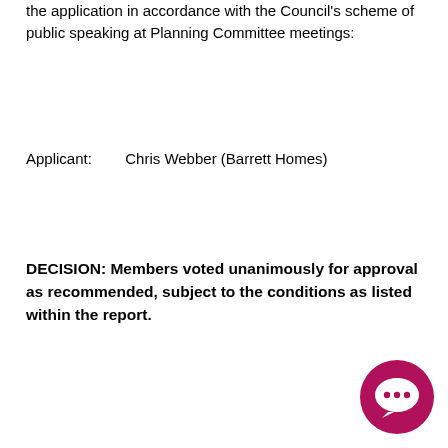the application in accordance with the Council's scheme of public speaking at Planning Committee meetings:
Applicant:        Chris Webber (Barrett Homes)
DECISION: Members voted unanimously for approval as recommended, subject to the conditions as listed within the report.
[Figure (illustration): Pink/magenta circular chat bubble icon with three dots]